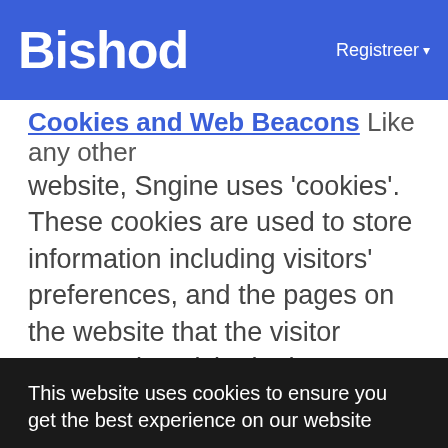Bishod    Registreer
Cookies and Web Beacons
Like any other website, Sngine uses ‘cookies’. These cookies are used to store information including visitors’ preferences, and the pages on the website that the visitor accessed or visited. The information is used to optimize the users’ experience by customizing our web page
This website uses cookies to ensure you get the best experience on our website
Learn More
Got It!
ads to our site visitors based upon their visit